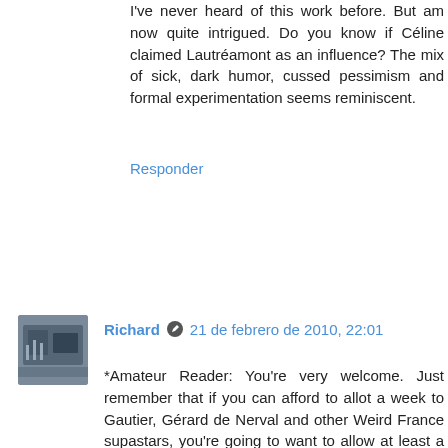I've never heard of this work before. But am now quite intrigued. Do you know if Céline claimed Lautréamont as an influence? The mix of sick, dark humor, cussed pessimism and formal experimentation seems reminiscent.
Responder
Richard  21 de febrero de 2010, 22:01
*Amateur Reader: You're very welcome. Just remember that if you can afford to allot a week to Gautier, Gérard de Nerval and other Weird France supastars, you're going to want to allow at least a month to do Lautréamont justice!

*Simon: Since most bloggers seem to only accuse people of writing "honest" reviews when they write something negative, I'm flattered to see you use that adjective in regard to a positive one--thanks! Maldoror is actually not hard work at all from a reading/entertainment perspective, but its themes/subject matter might indeed make people's brains explode (Lautréamont would love the idea, I'm sure)! P.S. I actually downplayed the violence a little in my post, so I might not have been as "honest" as I could have been